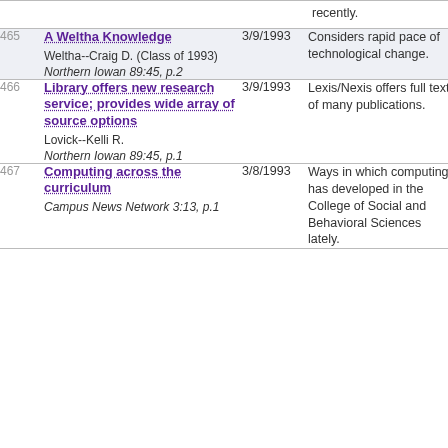| # | Title / Author / Source | Date | Description |
| --- | --- | --- | --- |
|  | recently. |  |  |
| 465 | A Weltha Knowledge
Weltha--Craig D. (Class of 1993)
Northern Iowan 89:45, p.2 | 3/9/1993 | Considers rapid pace of technological change. |
| 466 | Library offers new research service; provides wide array of source options
Lovick--Kelli R.
Northern Iowan 89:45, p.1 | 3/9/1993 | Lexis/Nexis offers full text of many publications. |
| 467 | Computing across the curriculum
Campus News Network 3:13, p.1 | 3/8/1993 | Ways in which computing has developed in the College of Social and Behavioral Sciences lately. |